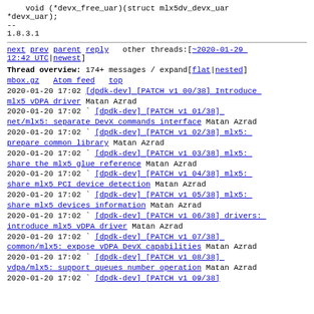void (*devx_free_uar)(struct mlx5dv_devx_uar *devx_uar);
--
1.8.3.1
next prev parent reply   other threads:[~2020-01-29 12:42 UTC|newest]
Thread overview: 174+ messages / expand[flat|nested]
mbox.gz  Atom feed  top
2020-01-20 17:02 [dpdk-dev] [PATCH v1 00/38] Introduce mlx5 vDPA driver Matan Azrad
2020-01-20 17:02 ` [dpdk-dev] [PATCH v1 01/38] net/mlx5: separate DevX commands interface Matan Azrad
2020-01-20 17:02 ` [dpdk-dev] [PATCH v1 02/38] mlx5: prepare common library Matan Azrad
2020-01-20 17:02 ` [dpdk-dev] [PATCH v1 03/38] mlx5: share the mlx5 glue reference Matan Azrad
2020-01-20 17:02 ` [dpdk-dev] [PATCH v1 04/38] mlx5: share mlx5 PCI device detection Matan Azrad
2020-01-20 17:02 ` [dpdk-dev] [PATCH v1 05/38] mlx5: share mlx5 devices information Matan Azrad
2020-01-20 17:02 ` [dpdk-dev] [PATCH v1 06/38] drivers: introduce mlx5 vDPA driver Matan Azrad
2020-01-20 17:02 ` [dpdk-dev] [PATCH v1 07/38] common/mlx5: expose vDPA DevX capabilities Matan Azrad
2020-01-20 17:02 ` [dpdk-dev] [PATCH v1 08/38] vdpa/mlx5: support queues number operation Matan Azrad
2020-01-20 17:02 ` [dpdk-dev] [PATCH v1 09/38]